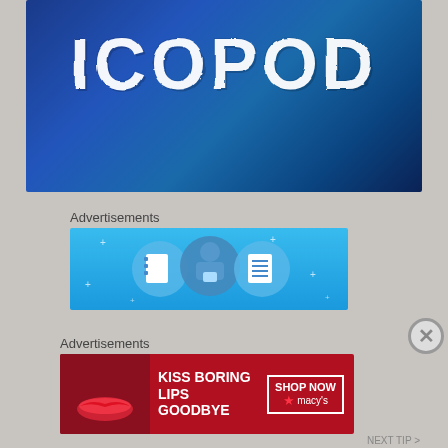[Figure (logo): ICOPOD logo/banner with large distressed white text 'ICOPOD' on a dark blue blurred background]
Advertisements
[Figure (illustration): Advertisement banner with light blue background showing cartoon illustration of a person with notebook and checklist icons, star sparkles]
Advertisements
[Figure (photo): Macy's advertisement: 'KISS BORING LIPS GOODBYE' with red background, woman's lips photo, 'SHOP NOW' button and Macy's star logo]